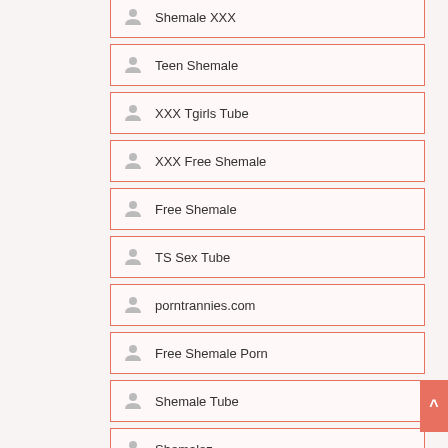Shemale XXX
Teen Shemale
XXX Tgirls Tube
XXX Free Shemale
Free Shemale
TS Sex Tube
porntrannies.com
Free Shemale Porn
Shemale Tube
Shemalez
Shemale Tubes
Shemale Street
Cute Shemale Models